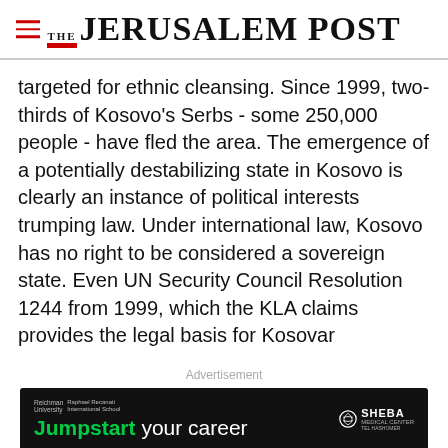THE JERUSALEM POST
targeted for ethnic cleansing. Since 1999, two-thirds of Kosovo's Serbs - some 250,000 people - have fled the area. The emergence of a potentially destabilizing state in Kosovo is clearly an instance of political interests trumping law. Under international law, Kosovo has no right to be considered a sovereign state. Even UN Security Council Resolution 1244 from 1999, which the KLA claims provides the legal basis for Kosovar
Advertisement
[Figure (other): Advertisement banner for Reichman University / Sheba showing text 'Jumpstart your career' on dark background]